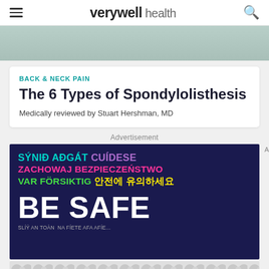verywell health
[Figure (photo): Partial view of a person, blurred/cropped hero image at top of article]
BACK & NECK PAIN
The 6 Types of Spondylolisthesis
Medically reviewed by Stuart Hershman, MD
Advertisement
[Figure (illustration): Advertisement banner with dark blue background showing multilingual 'BE SAFE' message in various colors: SÝNIÐAÐGÁT (teal), CUÍDESE (purple), ZACHOWAJ BEZPIECZEŃSTWO (pink), VAR FÖRSIKTIG (green), 안전에 유의하세요 (yellow), BE SAFE (white, large)]
[Figure (other): Bottom advertisement placeholder with grey circular dot pattern]